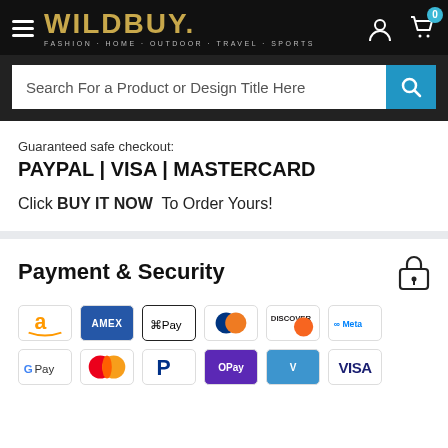[Figure (screenshot): WildBuy website header with logo, hamburger menu, user and cart icons on black background]
[Figure (screenshot): Search bar with placeholder text 'Search For a Product or Design Title Here' and blue search button]
Guaranteed safe checkout:
PAYPAL | VISA | MASTERCARD
Click BUY IT NOW To Order Yours!
Payment & Security
[Figure (screenshot): Payment method icons: Amazon, Amex, Apple Pay, Diners Club, Discover, Meta Pay, Google Pay, Mastercard, PayPal, OPay, Venmo, Visa]